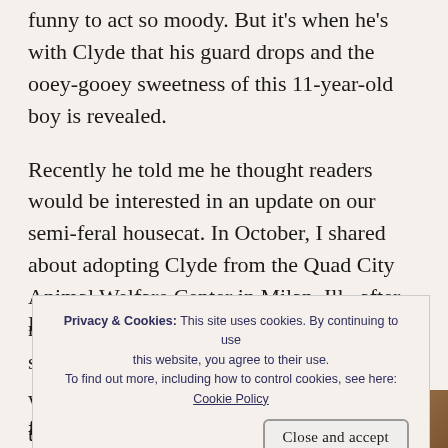funny to act so moody. But it's when he's with Clyde that his guard drops and the ooey-gooey sweetness of this 11-year-old boy is revealed.
Recently he told me he thought readers would be interested in an update on our semi-feral housecat. In October, I shared about adopting Clyde from the Quad City Animal Welfare Center in Milan, Ill., after reading his story on Facebook.
from the streets of Rock
[Figure (photo): Partial photo visible at bottom right corner, showing warm brown tones]
Privacy & Cookies: This site uses cookies. By continuing to use this website, you agree to their use.
To find out more, including how to control cookies, see here: Cookie Policy